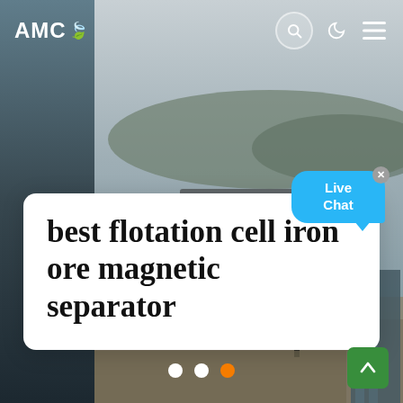[Figure (screenshot): AMC website screenshot showing aerial view of mining/industrial site with conveyor belts and equipment, dark hazy sky, with left panel showing machinery close-up]
AMC
best flotation cell iron ore magnetic separator
[Figure (infographic): Live Chat speech bubble in blue with close button]